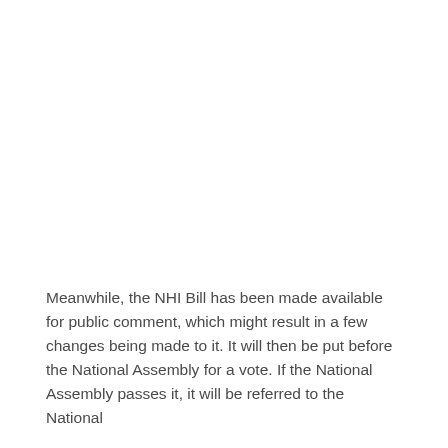Meanwhile, the NHI Bill has been made available for public comment, which might result in a few changes being made to it. It will then be put before the National Assembly for a vote. If the National Assembly passes it, it will be referred to the National